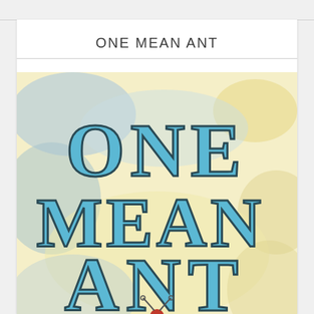ONE MEAN ANT
[Figure (illustration): Book cover illustration for 'One Mean Ant' showing large blue Western-style block letters spelling out 'ONE MEAN ANT' on a watercolor background with soft clouds in pale blue and yellow. At the bottom, a cartoon ant character is partially visible.]